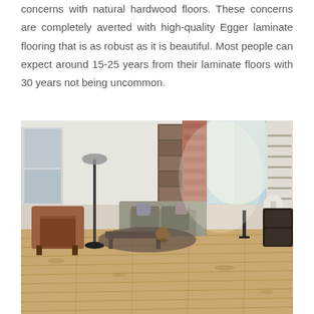concerns with natural hardwood floors. These concerns are completely averted with high-quality Egger laminate flooring that is as robust as it is beautiful. Most people can expect around 15-25 years from their laminate floors with 30 years not being uncommon.
[Figure (photo): A modern open-plan living room with Egger laminate wood flooring. The room features a brown leather armchair, grey sofa, bookshelf, floor lamp, brick pillar, large windows, and a staircase. The laminate floor is a light honey-oak wood tone.]